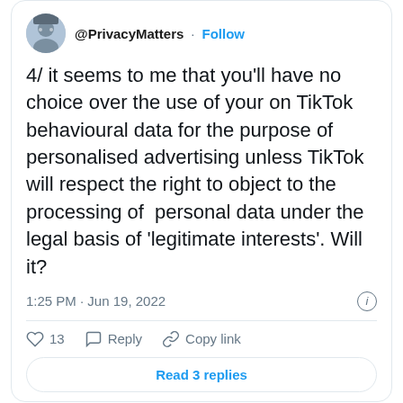[Figure (screenshot): Twitter/X tweet screenshot showing @PrivacyMatters account with Follow button, tweet text about TikTok behavioural data and legitimate interests legal basis, timestamp 1:25 PM Jun 19 2022, 13 likes, Reply, Copy link actions, and Read 3 replies button]
It is unclear whether TikTok's lead data protection regulator in the EU, Ireland's DPC, has been consulted about these incoming changes, which appear to be